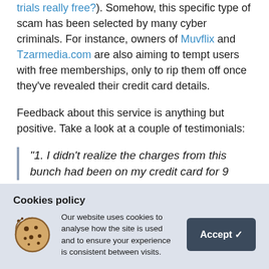trials really free?). Somehow, this specific type of scam has been selected by many cyber criminals. For instance, owners of Muvflix and Tzarmedia.com are also aiming to tempt users with free memberships, only to rip them off once they've revealed their credit card details.
Feedback about this service is anything but positive. Take a look at a couple of testimonials:
“1. I didn’t realize the charges from this bunch had been on my credit card for 9
Cookies policy
Our website uses cookies to analyse how the site is used and to ensure your experience is consistent between visits.